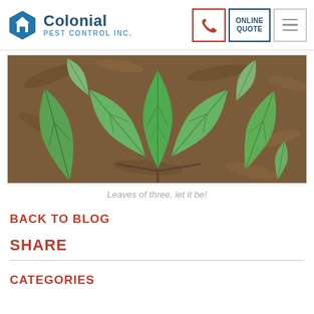Colonial Pest Control Inc. | ONLINE QUOTE
[Figure (photo): Close-up photo of poison ivy leaves (leaves of three) on a forest floor with dry brown leaf litter background. Bright green trifoliate leaves are prominent.]
Leaves of three, let it be!
BACK TO BLOG
SHARE
CATEGORIES